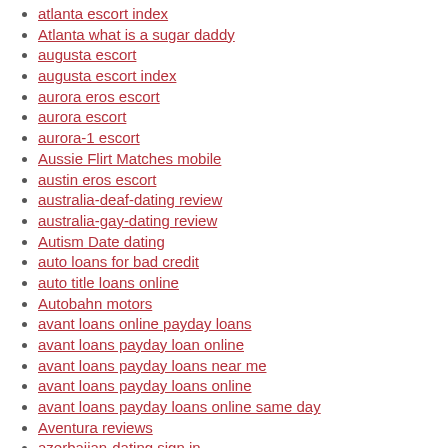atlanta escort index
Atlanta what is a sugar daddy
augusta escort
augusta escort index
aurora eros escort
aurora escort
aurora-1 escort
Aussie Flirt Matches mobile
austin eros escort
australia-deaf-dating review
australia-gay-dating review
Autism Date dating
auto loans for bad credit
auto title loans online
Autobahn motors
avant loans online payday loans
avant loans payday loan online
avant loans payday loans near me
avant loans payday loans online
avant loans payday loans online same day
Aventura reviews
azerbaijan-dating sign in
Aziatische Datingsite gebruikersnaam
aziatische-datingsites beoordeling
azjatyckie-serwisy-randkowe profil